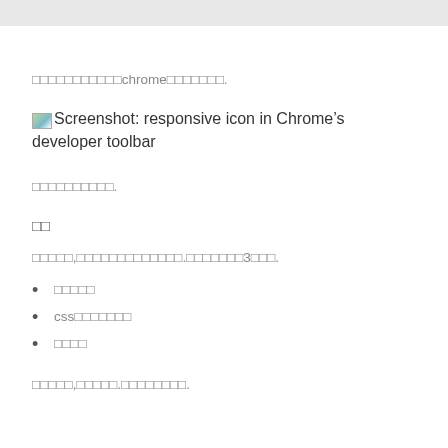□□□□□□□□□□□chrome□□□□□□□.
[Figure (screenshot): Screenshot: responsive icon in Chrome's developer toolbar]
□□□□□□□□□□.
□□
□□□□□,□□□□□□□□□□□□□.□□□□□□□3□□□.
□□□□□
css□□□□□□□
□□□□
□□□□□,□□□□□.□□□□□□□□.